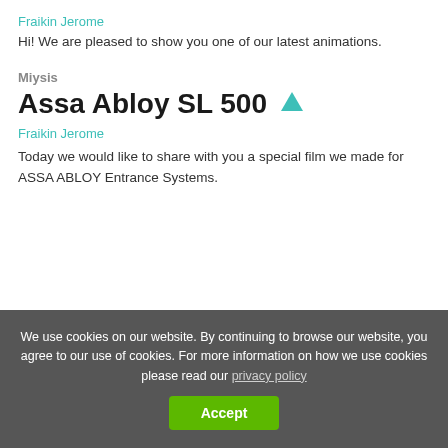Fraikin Jerome
Hi! We are pleased to show you one of our latest animations.
Miysis
Assa Abloy SL 500 ▲
Fraikin Jerome
Today we would like to share with you a special film we made for ASSA ABLOY Entrance Systems.
We use cookies on our website. By continuing to browse our website, you agree to our use of cookies. For more information on how we use cookies please read our privacy policy
Accept